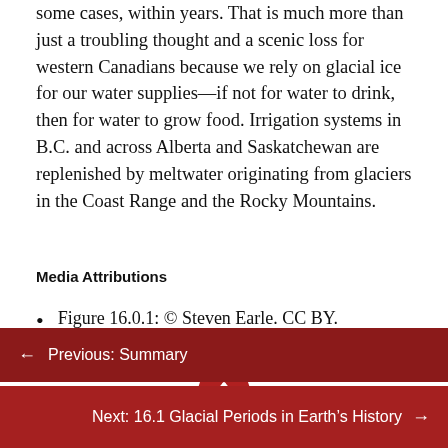some cases, within years. That is much more than just a troubling thought and a scenic loss for western Canadians because we rely on glacial ice for our water supplies—if not for water to drink, then for water to grow food. Irrigation systems in B.C. and across Alberta and Saskatchewan are replenished by meltwater originating from glaciers in the Coast Range and the Rocky Mountains.
Media Attributions
Figure 16.0.1: © Steven Earle. CC BY.
← Previous: Summary
Next: 16.1 Glacial Periods in Earth's History →